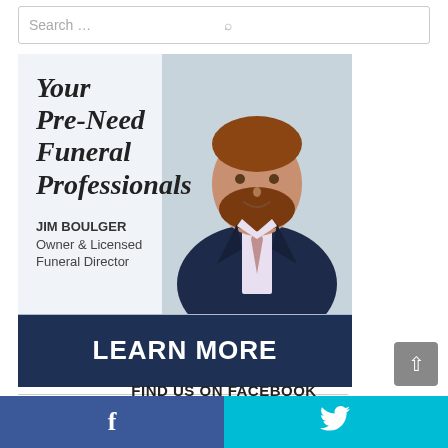[Figure (screenshot): Search bar with placeholder text 'Search ...' and a magnifying glass icon on the right]
[Figure (infographic): Advertisement banner for pre-need funeral services featuring Jim Boulger, Owner & Licensed Funeral Director. Light blue background with italic bold heading 'Your Pre-Need Funeral Professionals', a photo of a man in a dark suit with a pink tie, and a dark navy 'LEARN MORE' call-to-action button at the bottom.]
FIND US ON FACEBOOK
[Figure (infographic): Social media bar with Facebook (blue) on left showing 'f' icon and Twitter (cyan) on right showing bird icon]